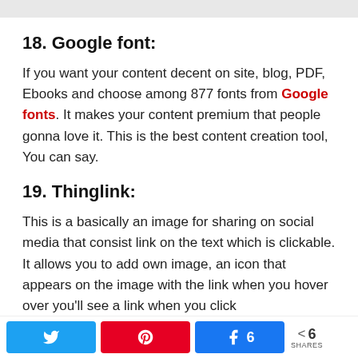18. Google font:
If you want your content decent on site, blog, PDF, Ebooks and choose among 877 fonts from Google fonts. It makes your content premium that people gonna love it. This is the best content creation tool, You can say.
19. Thinglink:
This is a basically an image for sharing on social media that consist link on the text which is clickable. It allows you to add own image, an icon that appears on the image with the link when you hover over you'll see a link when you click
Twitter share | Pinterest share | Facebook share 6 | Share 6 SHARES